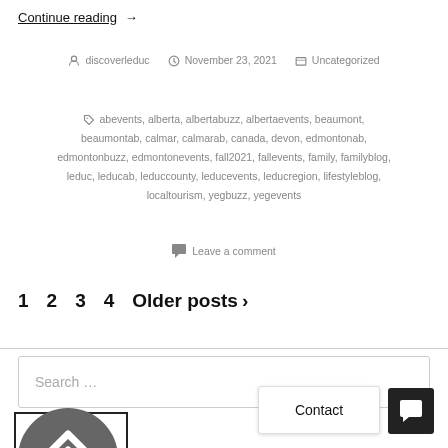Continue reading  →
discoverleduc   November 23, 2021   Uncategorized
abevents, alberta, albertabuzz, albertaevents, beaumont, beaumontab, calmar, calmarab, canada, devon, edmontonab, edmontonbuzz, edmontonevents, fall2021, fallevents, family, familyblog, leduc, leducab, leduccounty, leducevents, leducregion, lifestyleblog, localtourism, yegbuzz, yegevents
Leave a comment
1  2  3  4  Older posts  ›